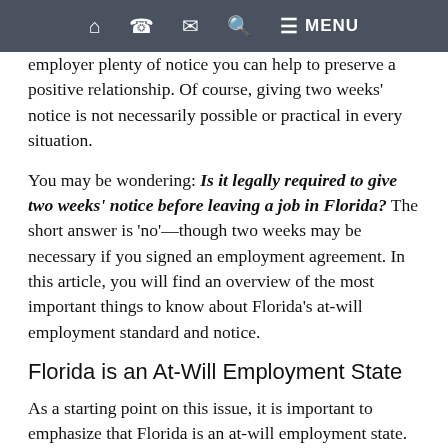Home | Phone | Mail | Search | Menu
employer plenty of notice you can help to preserve a positive relationship. Of course, giving two weeks' notice is not necessarily possible or practical in every situation.
You may be wondering: Is it legally required to give two weeks' notice before leaving a job in Florida? The short answer is 'no'—though two weeks may be necessary if you signed an employment agreement. In this article, you will find an overview of the most important things to know about Florida's at-will employment standard and notice.
Florida is an At-Will Employment State
As a starting point on this issue, it is important to emphasize that Florida is an at-will employment state. This is not uncommon, as almost every U.S. state uses an at-will employment standard. As described by the National Conference of State Legislatures (NCSC), at-will employment means that both employers and employees